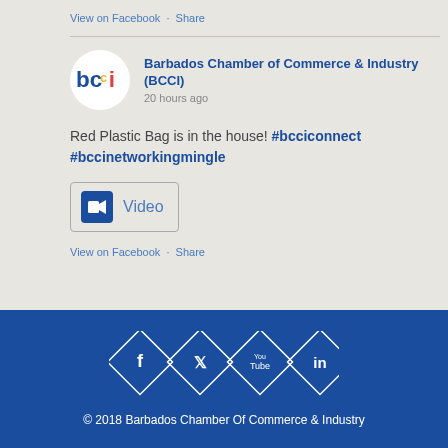View on Facebook · Share
Barbados Chamber of Commerce & Industry (BCCI)
20 hours ago
Red Plastic Bag is in the house! #bcciconnect #bccinetworkingmingle
[Figure (other): Video icon button with camera icon and label 'Video']
View on Facebook · Share
[Figure (other): Social media icons (Facebook, Twitter, YouTube, LinkedIn) in diamond/rhombus outlines on blue background]
© 2018 Barbados Chamber Of Commerce & Industry